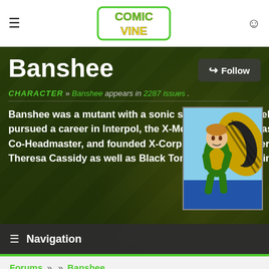Comic Vine navigation header
Banshee
CHARACTER » Banshee appears in 2287 issues.
Banshee was a mutant with a sonic scream. Born in Ireland, he pursued a career in Interpol, the X-Men, Generation X as Co-Headmaster, and founded X-Corp. He was the father of Theresa Cassidy as well as Black Tom Cassidy's cousin.
[Figure (illustration): Banshee character illustration showing superhero in green and yellow costume flying]
Navigation
Forums » » Banshee
Should Banshee be brought